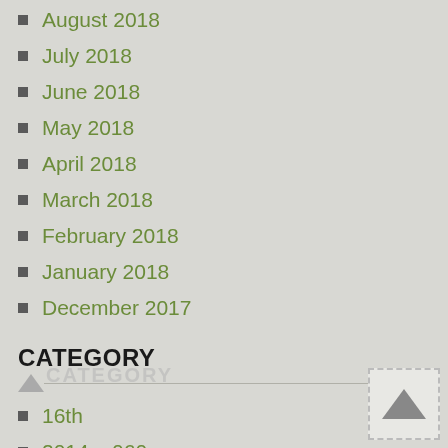August 2018
July 2018
June 2018
May 2018
April 2018
March 2018
February 2018
January 2018
December 2017
CATEGORY
16th
2014pp060
2019pp161
60goddess
adele
adonis
aerodynamic